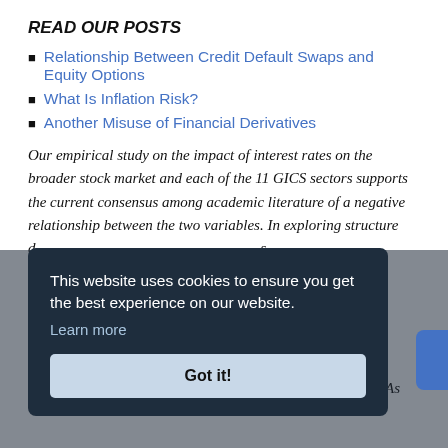READ OUR POSTS
Relationship Between Credit Default Swaps and Equity Options
What Is Inflation Risk?
Another Misuse of Financial Derivatives
Our empirical study on the impact of interest rates on the broader stock market and each of the 11 GICS sectors supports the current consensus among academic literature of a negative relationship between the two variables. In exploring structure d s should pa other mat relationsh the 11 GIC of a nega exhibiting a positive relationship over the analyzed period. As
This website uses cookies to ensure you get the best experience on our website. Learn more
Got it!